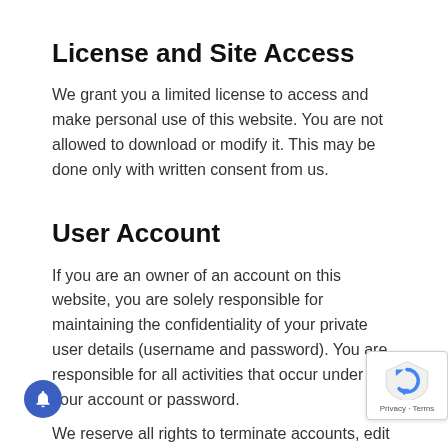License and Site Access
We grant you a limited license to access and make personal use of this website. You are not allowed to download or modify it. This may be done only with written consent from us.
User Account
If you are an owner of an account on this website, you are solely responsible for maintaining the confidentiality of your private user details (username and password). You are responsible for all activities that occur under your account or password.
We reserve all rights to terminate accounts, edit or